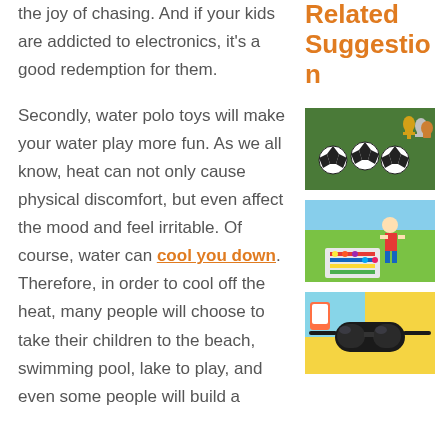the joy of chasing. And if your kids are addicted to electronics, it's a good redemption for them.
Secondly, water polo toys will make your water play more fun. As we all know, heat can not only cause physical discomfort, but even affect the mood and feel irritable. Of course, water can cool you down. Therefore, in order to cool off the heat, many people will choose to take their children to the beach, swimming pool, lake to play, and even some people will build a
Related Suggestion
[Figure (photo): Soccer balls and trophy figurines on green surface]
[Figure (photo): Children playing with colorful toys on green grass]
[Figure (photo): Sunglasses and beach items on yellow background]